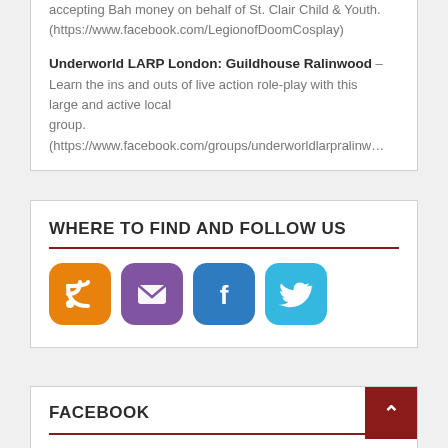accepting Bah money on behalf of St. Clair Child & Youth. (https://www.facebook.com/LegionofDoomCosplay)
Underworld LARP London: Guildhouse Ralinwood – Learn the ins and outs of live action role-play with this large and active local group. (https://www.facebook.com/groups/underworldlarpralinw...
WHERE TO FIND AND FOLLOW US
[Figure (infographic): Four social media icon buttons in a row: RSS (orange), Email (purple), Facebook (blue), Twitter (light blue)]
FACEBOOK